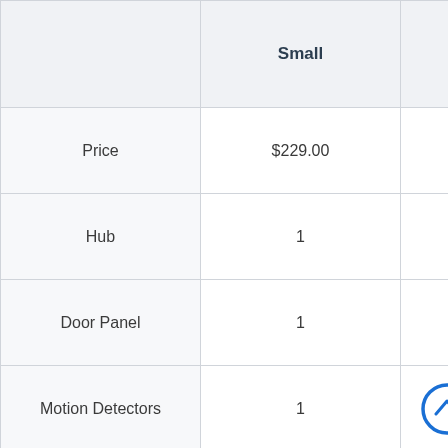|  | Small | Larg… |
| --- | --- | --- |
| Price | $229.00 | $319.… |
| Hub | 1 | 1 |
| Door Panel | 1 | 1 |
| Motion Detectors | 1 | 2 |
| Access Sensors | 2 | 5 |